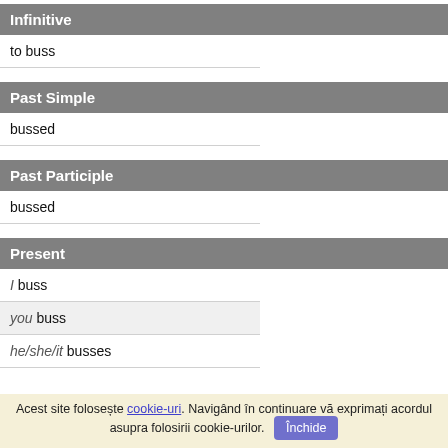Infinitive
to buss
Past Simple
bussed
Past Participle
bussed
Present
I buss
you buss
he/she/it busses
Acest site folosește cookie-uri. Navigând în continuare vă exprimați acordul asupra folosirii cookie-urilor. Închide